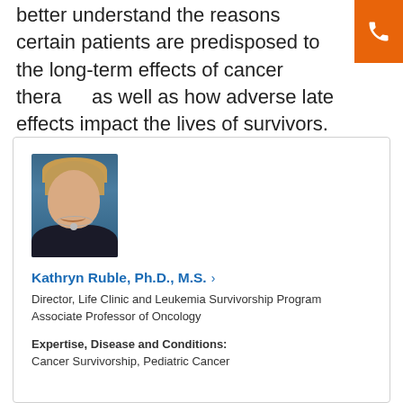better understand the reasons certain patients are predisposed to the long-term effects of cancer therapy, as well as how adverse late effects impact the lives of survivors.
[Figure (photo): Portrait photo of Kathryn Ruble, a woman with short blonde hair wearing a dark top and necklace, photographed against a blue background.]
Kathryn Ruble, Ph.D., M.S. ›
Director, Life Clinic and Leukemia Survivorship Program
Associate Professor of Oncology
Expertise, Disease and Conditions: Cancer Survivorship, Pediatric Cancer